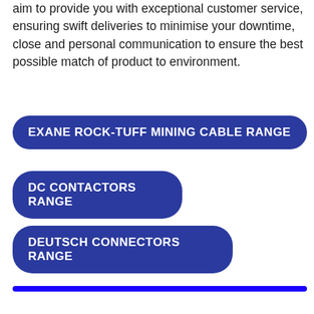aim to provide you with exceptional customer service, ensuring swift deliveries to minimise your downtime, close and personal communication to ensure the best possible match of product to environment.
EXANE ROCK-TUFF MINING CABLE RANGE
DC CONTACTORS RANGE
DEUTSCH CONNECTORS RANGE